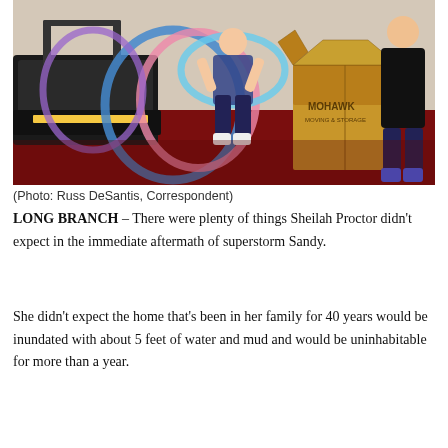[Figure (photo): Children playing with colorful hula hoops on dark red carpet inside a room. A treadmill is visible on the left, and a large cardboard moving box labeled 'MOHAWK' is on the right. A person in black stands at far right.]
(Photo: Russ DeSantis, Correspondent)
LONG BRANCH – There were plenty of things Sheilah Proctor didn't expect in the immediate aftermath of superstorm Sandy.
She didn't expect the home that's been in her family for 40 years would be inundated with about 5 feet of water and mud and would be uninhabitable for more than a year.